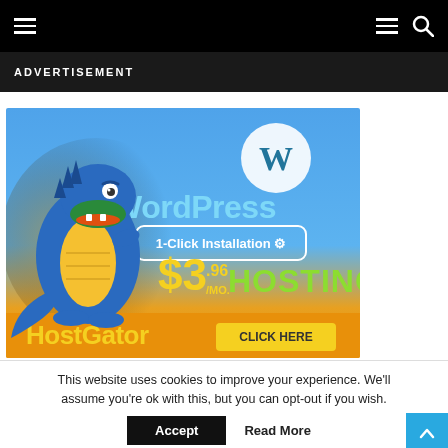Navigation bar with hamburger menu, menu icon, and search icon
ADVERTISEMENT
[Figure (photo): HostGator advertisement banner featuring a cartoon alligator mascot, WordPress logo, text reading 'WordPress 1-Click Installation' and '$3.96/MO. HOSTING', and HostGator branding at the bottom with a yellow 'CLICK HERE' button]
This website uses cookies to improve your experience. We'll assume you're ok with this, but you can opt-out if you wish
Accept
Read More